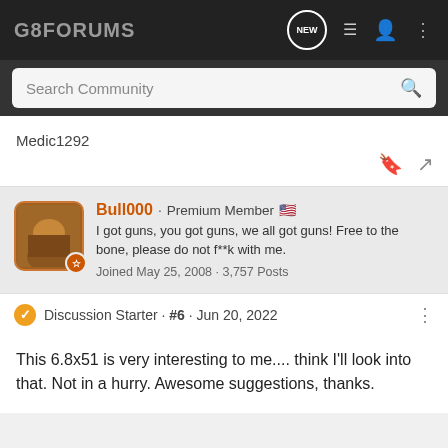G8FORUMS
Search Community
Medic1292
Bull000 · Premium Member 🇺🇸
I got guns, you got guns, we all got guns! Free to the bone, please do not f**k with me.
Joined May 25, 2008 · 3,757 Posts
Discussion Starter · #6 · Jun 20, 2022
This 6.8x51 is very interesting to me.... think I'll look into that. Not in a hurry. Awesome suggestions, thanks.